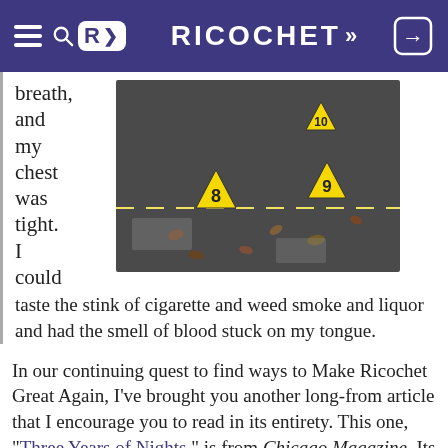RICOCHET
breath, and my chest was tight. I could taste the stink of cigarette and weed smoke and liquor and had the smell of blood stuck on my tongue.
[Figure (photo): Crime scene photo showing asphalt road with yellow numbered evidence markers: number 8, number 9, and number 10 visible on the pavement.]
In our continuing quest to find ways to Make Ricochet Great Again, I've brought you another long-from article that I encourage you to read in its entirety. This one, “Three Years of Nights,” is from Chicago Magazine. Its author, Peter Nickeas, spent three years working the overnight violent crime beat for the Chicago Tribune and the time obviously marked him. By the end of the article, I think a little of what